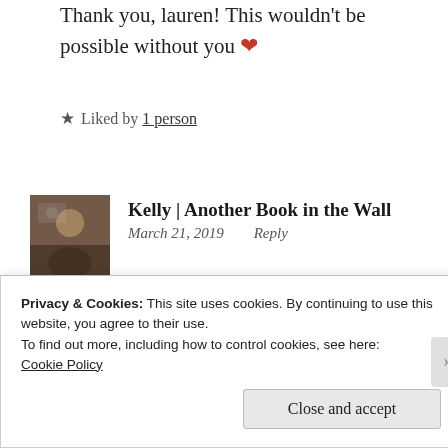Thank you, lauren! This wouldn't be possible without you ❤
★ Liked by 1 person
Kelly | Another Book in the Wall
March 21, 2019    Reply
What an awesome interview, Rain! I'm more
Privacy & Cookies: This site uses cookies. By continuing to use this website, you agree to their use.
To find out more, including how to control cookies, see here:
Cookie Policy
Close and accept